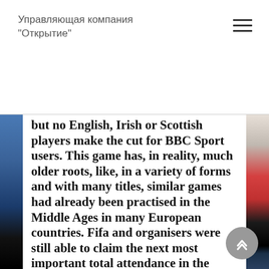Управляющая компания "Открытие"
but no English, Irish or Scottish players make the cut for BBC Sport users. This game has, in reality, much older roots, like, in a variety of forms and with many titles, similar games had already been practised in the Middle Ages in many European countries. Fifa and organisers were still able to claim the next most important total attendance in the wake of the worst international recession since the 1930s. In case Fifa and Match have learned a few difficult lessons about the way that